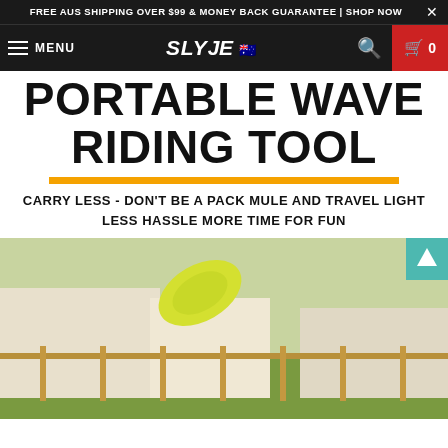FREE AUS SHIPPING OVER $99 & MONEY BACK GUARANTEE | SHOP NOW
MENU | SLYDE 🇦🇺 | 0
PORTABLE WAVE RIDING TOOL
CARRY LESS - DON'T BE A PACK MULE AND TRAVEL LIGHT LESS HASSLE MORE TIME FOR FUN
[Figure (photo): Shirtless man with long hair jumping over a wooden fence outdoors, holding a yellow Slyde handboard surfboard. Suburban setting with houses in background.]